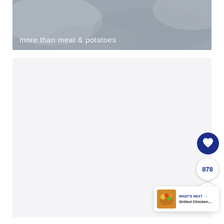[Figure (photo): Gray textured concrete/stone surface with overlay text 'more than meat & potatoes']
[Figure (screenshot): White/light gray content card area, mostly blank]
[Figure (infographic): UI elements: heart button (dark blue), count bubble showing 878, share button, and 'WHAT'S NEXT' card with food thumbnail and text 'Grilled Chicken...']